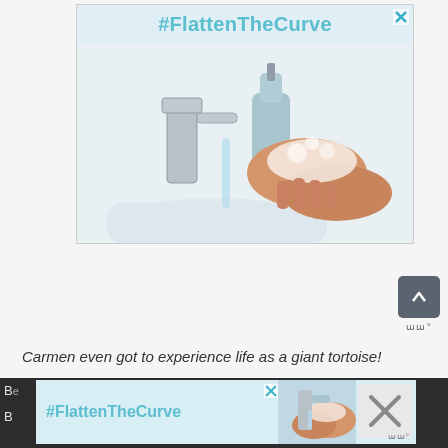[Figure (photo): Advertisement banner showing #FlattenTheCurve hashtag with a photo of hands being washed with soap at a bathroom sink with a chrome faucet and soap dispenser]
[Figure (other): Scroll-to-top button (dark grey rounded square with up arrow) and website logo]
Carmen even got to experience life as a giant tortoise!
[Figure (photo): Bottom advertisement banner showing #FlattenTheCurve with partial hand-washing photo and close/X buttons, overlaid on dark background with partial article text visible]